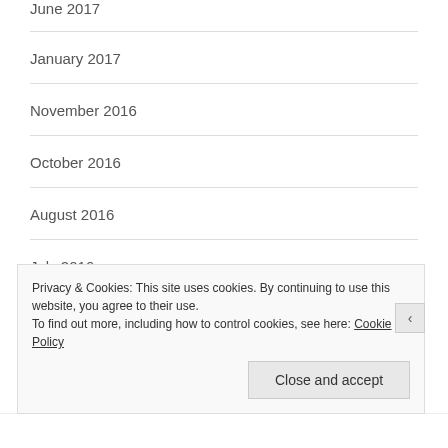June 2017
January 2017
November 2016
October 2016
August 2016
July 2016
June 2016
Privacy & Cookies: This site uses cookies. By continuing to use this website, you agree to their use.
To find out more, including how to control cookies, see here: Cookie Policy